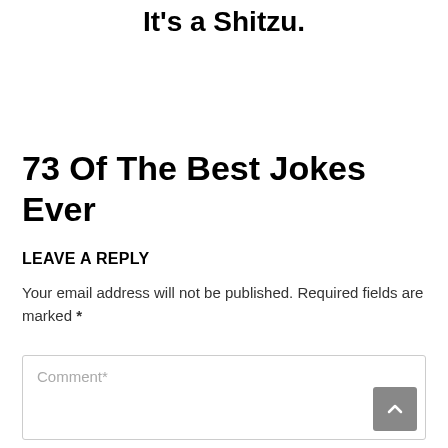It's a Shitzu.
73 Of The Best Jokes Ever
LEAVE A REPLY
Your email address will not be published. Required fields are marked *
Comment*